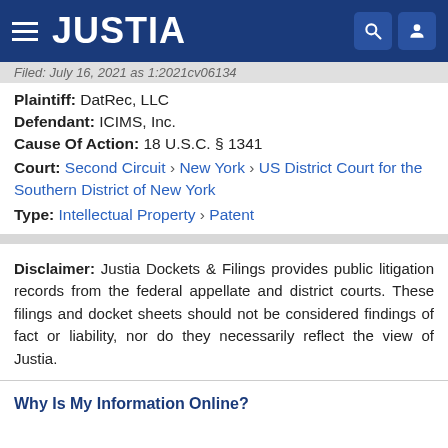JUSTIA
Filed: July 16, 2021 as 1:2021cv06134
Plaintiff: DatRec, LLC
Defendant: ICIMS, Inc.
Cause Of Action: 18 U.S.C. § 1341
Court: Second Circuit › New York › US District Court for the Southern District of New York
Type: Intellectual Property › Patent
Disclaimer: Justia Dockets & Filings provides public litigation records from the federal appellate and district courts. These filings and docket sheets should not be considered findings of fact or liability, nor do they necessarily reflect the view of Justia.
Why Is My Information Online?